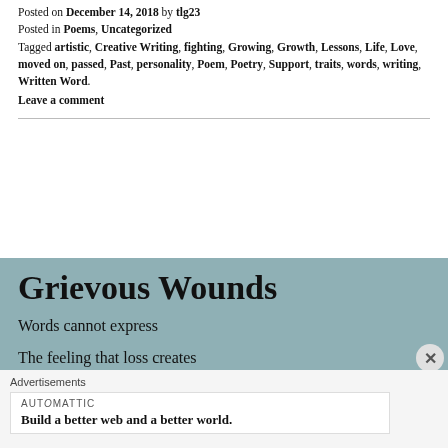Posted on December 14, 2018 by tlg23
Posted in Poems, Uncategorized
Tagged artistic, Creative Writing, fighting, Growing, Growth, Lessons, Life, Love, moved on, passed, Past, personality, Poem, Poetry, Support, traits, words, writing, Written Word.
Leave a comment
Grievous Wounds
Words cannot express
The feeling that loss creates
When it inhabits your bones.
Advertisements
AUTOMATTIC
Build a better web and a better world.